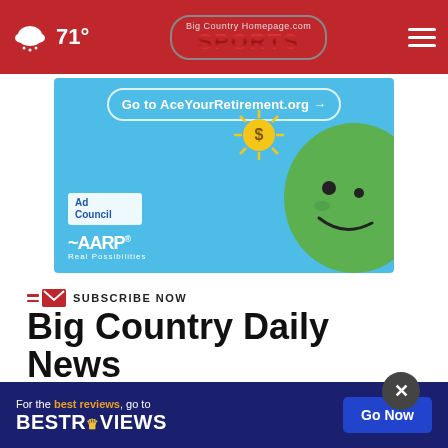71° | Big Country Homepage.com SPORTS
[Figure (screenshot): AARP/Ad Council advertisement banner: Go to AceYourRetirement.org, featuring Ad Council logo, AARP logo with Real Possibilities tagline, sun coin graphic, and green character face on blue background]
SUBSCRIBE NOW
Big Country Daily News
[Figure (screenshot): BestReviews advertisement banner: For the best reviews, go to BESTREVIEWS with Go Now button on dark navy background]